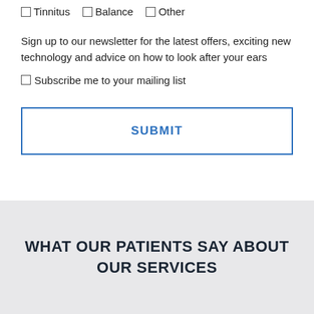☐ Tinnitus  ☐ Balance  ☐ Other
Sign up to our newsletter for the latest offers, exciting new technology and advice on how to look after your ears
☐ Subscribe me to your mailing list
SUBMIT
WHAT OUR PATIENTS SAY ABOUT OUR SERVICES